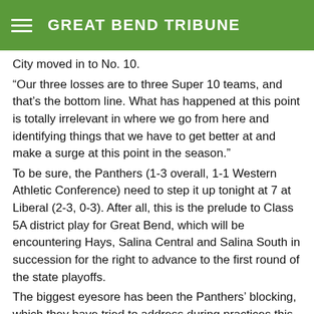GREAT BEND TRIBUNE
City moved in to No. 10.
“Our three losses are to three Super 10 teams, and that’s the bottom line. What has happened at this point is totally irrelevant in where we go from here and identifying things that we have to get better at and make a surge at this point in the season.”
To be sure, the Panthers (1-3 overall, 1-1 Western Athletic Conference) need to step it up tonight at 7 at Liberal (2-3, 0-3). After all, this is the prelude to Class 5A district play for Great Bend, which will be encountering Hays, Salina Central and Salina South in succession for the right to advance to the first round of the state playoffs.
The biggest eyesore has been the Panthers’ blocking, which they have tried to address during practices this week.
Still …
“At the same time, everybody is positive and everybody is